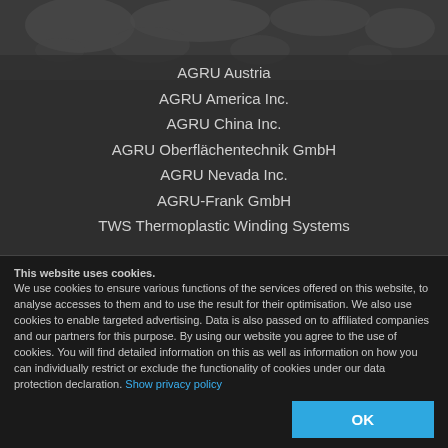[Figure (map): Greyscale world map background image at the top of the page]
AGRU Austria
AGRU America Inc.
AGRU China Inc.
AGRU Oberflächentechnik GmbH
AGRU Nevada Inc.
AGRU-Frank GmbH
TWS Thermoplastic Winding Systems
Company
Image
History
Employees
Locations
This website uses cookies.
We use cookies to ensure various functions of the services offered on this website, to analyse accesses to them and to use the result for their optimisation. We also use cookies to enable targeted advertising. Data is also passed on to affiliated companies and our partners for this purpose. By using our website you agree to the use of cookies. You will find detailed information on this as well as information on how you can individually restrict or exclude the functionality of cookies under our data protection declaration. Show privacy policy